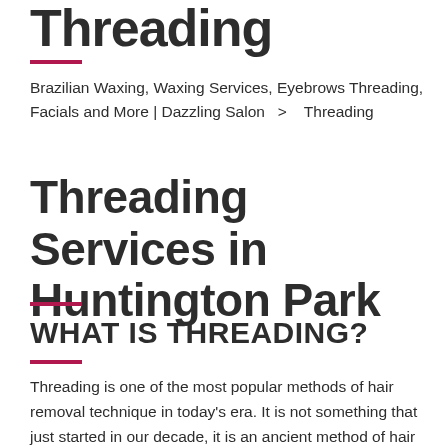Threading
Brazilian Waxing, Waxing Services, Eyebrows Threading, Facials and More | Dazzling Salon  >   Threading
Threading Services in Huntington Park
WHAT IS THREADING?
Threading is one of the most popular methods of hair removal technique in today's era. It is not something that just started in our decade, it is an ancient method of hair removal. The process includes antibacterial cotton thread to remove and shape facial hair... Visit Dazzling for Superb Threading Services in Huntington